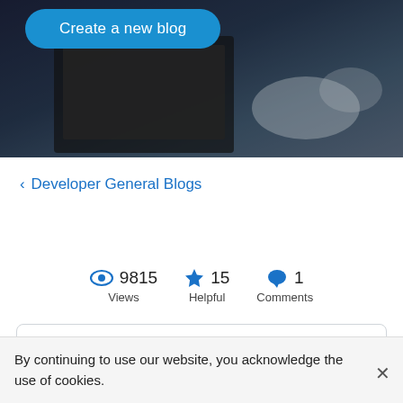[Figure (photo): Dark hero image showing a laptop/monitor on a desk, semi-dark overlay with a blue 'Create a new blog' button in the top-left]
< Developer General Blogs
9815 Views   15 Helpful   1 Comments
Apple and Cisco DevNet: What's in it for
By continuing to use our website, you acknowledge the use of cookies.